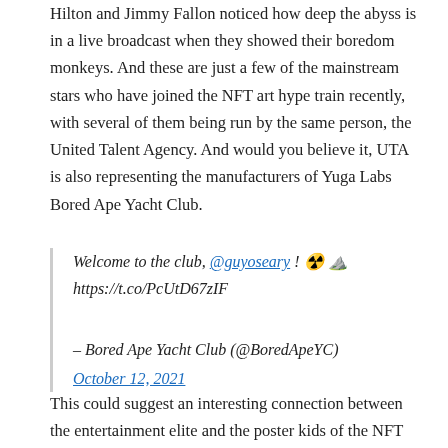Hilton and Jimmy Fallon noticed how deep the abyss is in a live broadcast when they showed their boredom monkeys. And these are just a few of the mainstream stars who have joined the NFT art hype train recently, with several of them being run by the same person, the United Talent Agency. And would you believe it, UTA is also representing the manufacturers of Yuga Labs Bored Ape Yacht Club.
Welcome to the club, @guyoseary ! ☢️🏔️ https://t.co/PcUtD67zIF

– Bored Ape Yacht Club (@BoredApeYC)
October 12, 2021
This could suggest an interesting connection between the entertainment elite and the poster kids of the NFT scene. BAYC